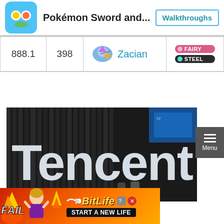Pokémon Sword and... | Walkthroughs
| Number | Base Stat | Pokémon | Type |
| --- | --- | --- | --- |
| 888.1 | 398 | Zacian | FAIRY / STEEL |
[Figure (photo): Tencent logo sign photographed at a convention or trade show — large white 'Tencent' lettering on a dark background, with people and blue structures visible in the background.]
[Figure (screenshot): BitLife mobile game advertisement banner with 'FAIL' text, character graphic, flame graphics, BitLife logo, and 'START A NEW LIFE' text on an orange/red gradient background.]